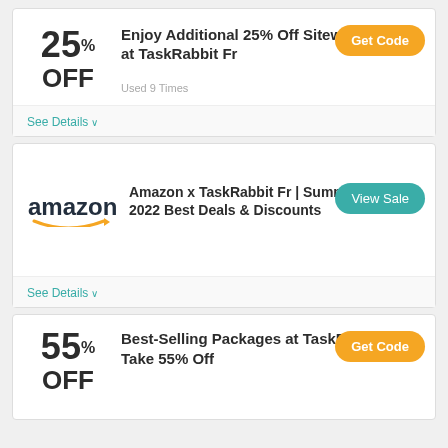25% OFF
Enjoy Additional 25% Off Sitewide Deals at TaskRabbit Fr
Get Code
Used 9 Times
See Details
[Figure (logo): Amazon logo with orange arrow]
Amazon x TaskRabbit Fr | Summer Sale 2022 Best Deals & Discounts
View Sale
See Details
55% OFF
Best-Selling Packages at TaskRabbit Fr - Take 55% Off